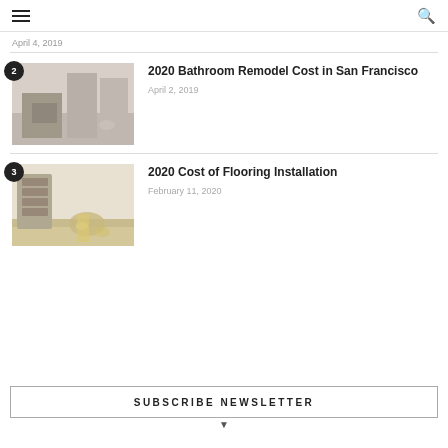≡  🔍
April 4, 2019
2. 2020 Bathroom Remodel Cost in San Francisco — April 2, 2019
3. 2020 Cost of Flooring Installation — February 11, 2020
SUBSCRIBE NEWSLETTER